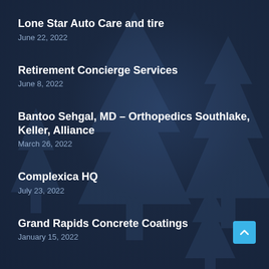Lone Star Auto Care and tire
June 22, 2022
Retirement Concierge Services
June 8, 2022
Bantoo Sehgal, MD – Orthopedics Southlake, Keller, Alliance
March 26, 2022
Complexica HQ
July 23, 2022
Grand Rapids Concrete Coatings
January 15, 2022